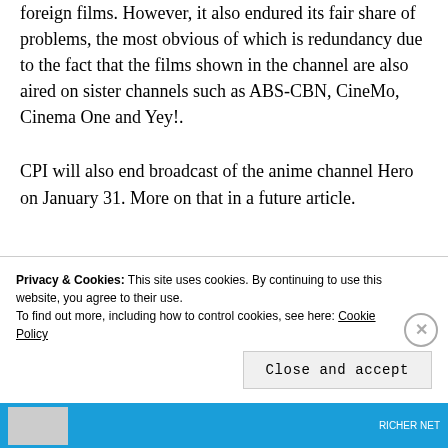foreign films. However, it also endured its fair share of problems, the most obvious of which is redundancy due to the fact that the films shown in the channel are also aired on sister channels such as ABS-CBN, CineMo, Cinema One and Yey!.
CPI will also end broadcast of the anime channel Hero on January 31. More on that in a future article.
Privacy & Cookies: This site uses cookies. By continuing to use this website, you agree to their use. To find out more, including how to control cookies, see here: Cookie Policy
Close and accept